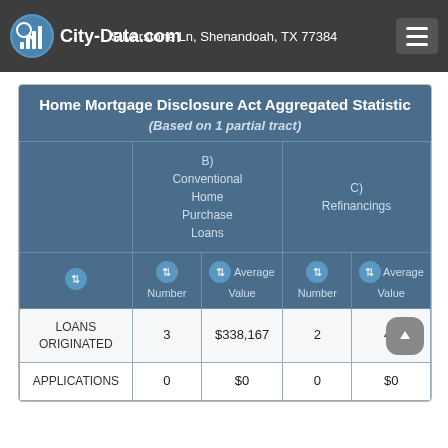City-Data.com — Silverstone Ln, Shenandoah, TX 77384
|  | B) Conventional Home Purchase Loans — Number | B) Conventional Home Purchase Loans — Average Value | C) Refinancings — Number | C) Refinancings — Average Value |
| --- | --- | --- | --- | --- |
| LOANS ORIGINATED | 3 | $338,167 | 2 | ...40 |
| APPLICATIONS | 0 | $0 | 0 | $0 |